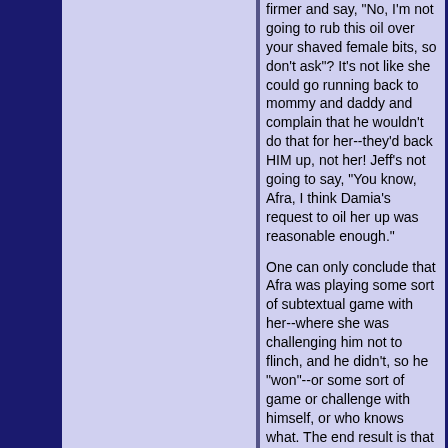firmer and say, "No, I'm not going to rub this oil over your shaved female bits, so don't ask"? It's not like she could go running back to mommy and daddy and complain that he wouldn't do that for her--they'd back HIM up, not her! Jeff's not going to say, "You know, Afra, I think Damia's request to oil her up was reasonable enough."

One can only conclude that Afra was playing some sort of subtextual game with her--where she was challenging him not to flinch, and he didn't, so he "won"--or some sort of game or challenge with himself, or who knows what. The end result is that he got to spread oil all over a pretty naked woman, even if he was Mr. Neutral the entire time in order to not provoke Damia and bring her messy emotions into it. I wonder, now, if he knew what he wanted, and got it, manipulating Damia quite neatly when opportunity arose (while she tried to manipulate